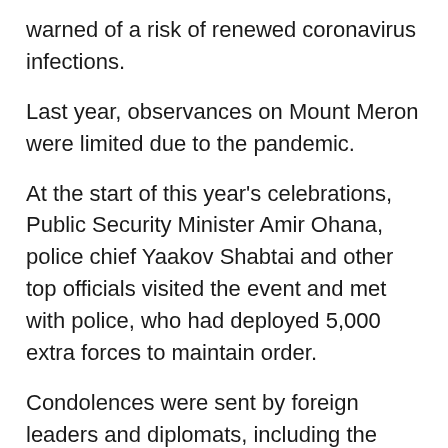warned of a risk of renewed coronavirus infections.
Last year, observances on Mount Meron were limited due to the pandemic.
At the start of this year's celebrations, Public Security Minister Amir Ohana, police chief Yaakov Shabtai and other top officials visited the event and met with police, who had deployed 5,000 extra forces to maintain order.
Condolences were sent by foreign leaders and diplomats, including the U.S. charge d'affaires. British Prime Minister Boris Johnson wrote on Twitter that his "thoughts are with the Israeli people and those who have lost loved ones in this tragedy."
The European Union said in a statement that it conveyed "deepest condolences to families and friends